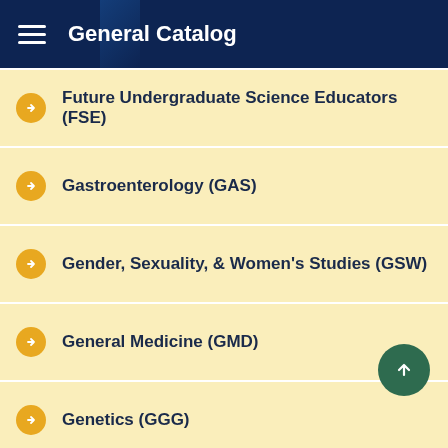General Catalog
Future Undergraduate Science Educators (FSE)
Gastroenterology (GAS)
Gender, Sexuality, & Women's Studies (GSW)
General Medicine (GMD)
Genetics (GGG)
Geography (GEO)
Geology (GEL)
German (GER)